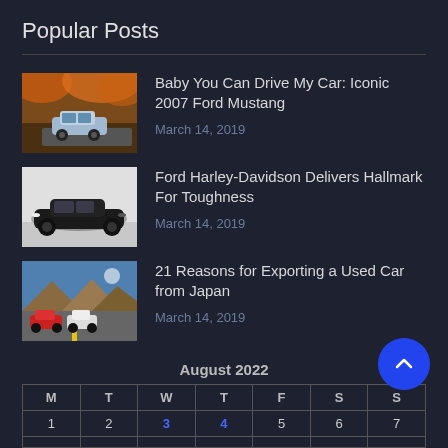Popular Posts
Baby You Can Drive My Car: Iconic 2007 Ford Mustang — March 14, 2019
Ford Harley-Davidson Delivers Hallmark For Toughness — March 14, 2019
21 Reasons for Exporting a Used Car from Japan — March 14, 2019
| M | T | W | T | F | S | S |
| --- | --- | --- | --- | --- | --- | --- |
| 1 | 2 | 3 | 4 | 5 | 6 | 7 |
|  |  |  |  |  |  |  |